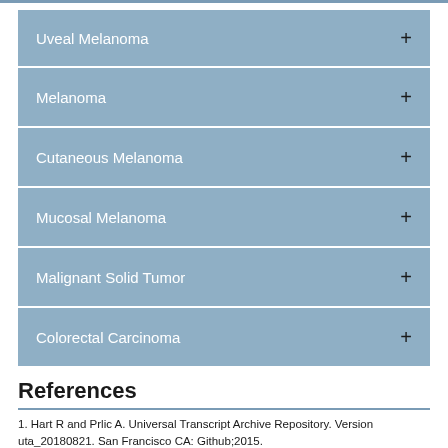Uveal Melanoma
Melanoma
Cutaneous Melanoma
Mucosal Melanoma
Malignant Solid Tumor
Colorectal Carcinoma
References
1. Hart R and Prlic A. Universal Transcript Archive Repository. Version uta_20180821. San Francisco CA: Github;2015.